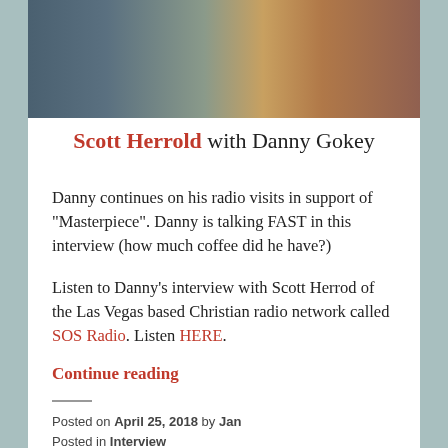[Figure (photo): Photo of Scott Herrold and Danny Gokey standing together, partially visible from waist up]
Scott Herrold with Danny Gokey
Danny continues on his radio visits in support of “Masterpiece”.  Danny is talking FAST in this interview (how much coffee did he have?)
Listen to Danny’s interview with Scott Herrod of the Las Vegas based Christian radio network called SOS Radio.  Listen HERE.
Continue reading
Posted on April 25, 2018 by Jan
Posted in Interview
Tagged Danny Gokey, SOS Radio